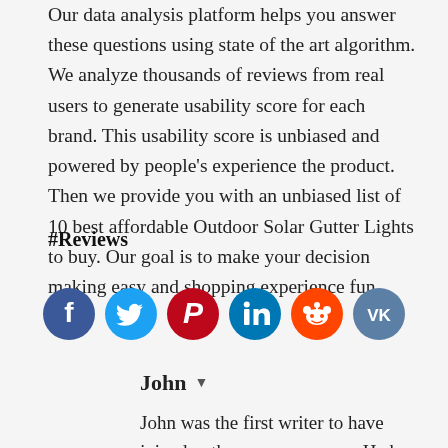Our data analysis platform helps you answer these questions using state of the art algorithm. We analyze thousands of reviews from real users to generate usability score for each brand. This usability score is unbiased and powered by people's experience the product. Then we provide you with an unbiased list of 10 best affordable Outdoor Solar Gutter Lights to buy. Our goal is to make your decision making easy and shopping experience fun.
#Reviews
[Figure (infographic): Row of 6 social media sharing icons: Facebook (dark blue), Twitter (light blue), Pinterest (red), LinkedIn (teal/blue), Reddit (orange), VK (slate blue)]
John ▾
John was the first writer to have joined pythonawesome.com. He has since then